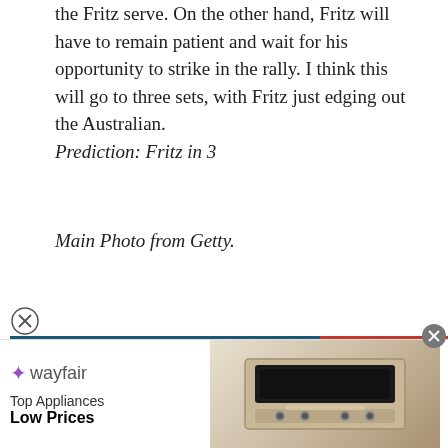the Fritz serve. On the other hand, Fritz will have to remain patient and wait for his opportunity to strike in the rally. I think this will go to three sets, with Fritz just edging out the Australian. Prediction: Fritz in 3
Main Photo from Getty.
[Figure (screenshot): Video thumbnail showing a tennis player at a press conference with ATP Tour backdrop, blue and red background panels, with a play button overlay. Tags visible: Alex De Minaur, ATP Eastbourne, international predictions]
[Figure (photo): Wayfair advertisement banner: Top Appliances Low Prices with appliance image and Shop now button]